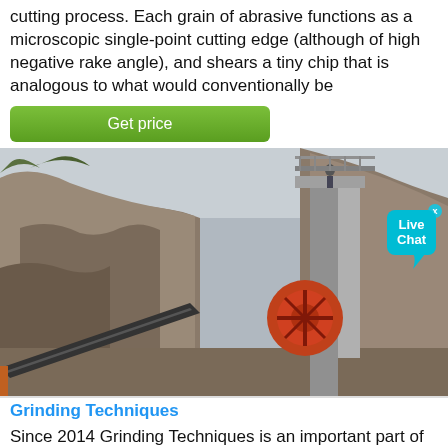cutting process. Each grain of abrasive functions as a microscopic single-point cutting edge (although of high negative rake angle), and shears a tiny chip that is analogous to what would conventionally be
[Figure (other): Button labeled 'Get price' with green gradient background]
[Figure (photo): Photograph of an outdoor mining or quarrying site showing a jaw crusher machine (orange/red) between two large rock/gravel walls, with a conveyor belt on the left side and a person visible at the top. A 'Live Chat' bubble is overlaid in the top right corner.]
Grinding Techniques
Since 2014 Grinding Techniques is an important part of the global TYROLIT Group. The TYROLIT Group are one